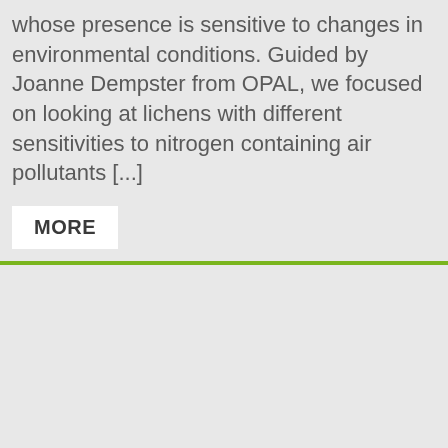whose presence is sensitive to changes in environmental conditions. Guided by Joanne Dempster from OPAL, we focused on looking at lichens with different sensitivities to nitrogen containing air pollutants [...]
MORE
Our colourful
One of our
Evernia